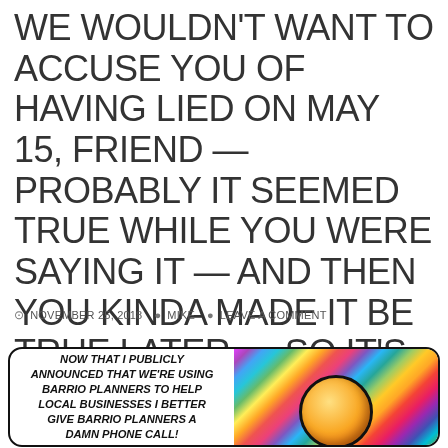WE WOULDN'T WANT TO ACCUSE YOU OF HAVING LIED ON MAY 15, FRIEND — PROBABLY IT SEEMED TRUE WHILE YOU WERE SAYING IT — AND THEN YOU KINDA MADE IT BE TRUE LATER — SO IT'S KINDA OK I GUESS
NOVEMBER 25, 2018   MIKE   LEAVE A COMMENT
[Figure (illustration): Comic strip panel showing a speech bubble with text 'NOW THAT I PUBLICLY ANNOUNCED THAT WE'RE USING BARRIO PLANNERS TO HELP LOCAL BUSINESSES I BETTER GIVE BARRIO PLANNERS A DAMN PHONE CALL!' alongside a colorful plaid/tartan patterned background with a figure's head visible.]